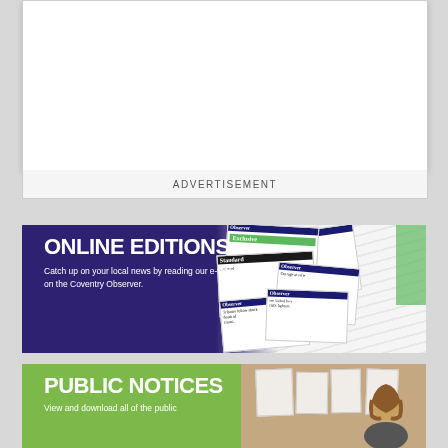[Figure (other): Advertisement placeholder box (white rectangle)]
ADVERTISEMENT
[Figure (infographic): Online Editions banner with purple background, newspaper collage image on right. Title: ONLINE EDITIONS. Body: Catch up on your local news by reading our e-editions on the Coventry Observer.]
[Figure (infographic): Public Notices banner with green background and bulletin board photo on right. Title: PUBLIC NOTICES. Body: View and download all of the public...]